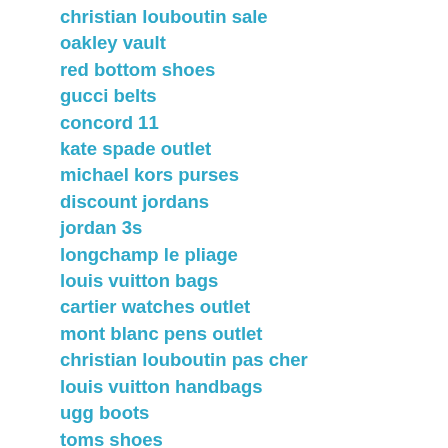christian louboutin sale
oakley vault
red bottom shoes
gucci belts
concord 11
kate spade outlet
michael kors purses
discount jordans
jordan 3s
longchamp le pliage
louis vuitton bags
cartier watches outlet
mont blanc pens outlet
christian louboutin pas cher
louis vuitton handbags
ugg boots
toms shoes
coach outlet
cheap ray ban sunglasses
gucci bags
oakley sunglasses
oakley canada